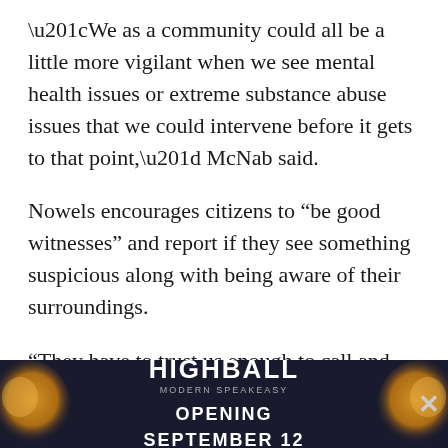“We as a community could all be a little more vigilant when we see mental health issues or extreme substance abuse issues that we could intervene before it gets to that point,” McNab said.
Nowels encourages citizens to “be good witnesses” and report if they see something suspicious along with being aware of their surroundings.
“They have to trust us enough to call and tell us that they know this person is doing that or this person is doing this and they’re concerned,” Nowels said of citizens reporting what they know to police.
Nowels also said he is concerned that chronic offenders aren’t being held accountable, which allows them to continu... violent...
[Figure (other): Advertisement banner for Highball Modern Speakeasy, Opening September 12, with decorative orange orb graphics on left and right, dark navy background, and a close button (X) on the right.]